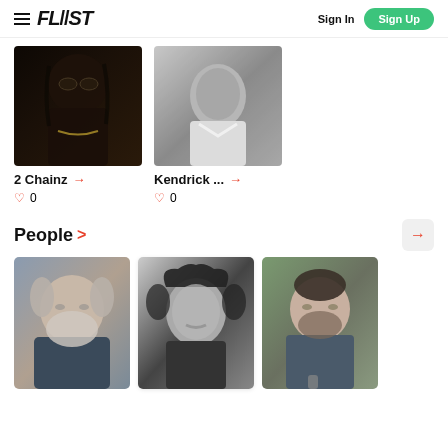FLAST — Sign In, Sign Up
[Figure (photo): Photo of 2 Chainz, rapper with sunglasses and gold chain, black and white style]
2 Chainz →
♡ 0
[Figure (photo): Black and white photo of Kendrick Lamar looking upward in white t-shirt]
Kendrick... →
♡ 0
People >
[Figure (photo): Photo of older white man with grey beard, Ridley Scott]
[Figure (photo): Black and white photo of Alejandro G. Iñárritu with mustache and curly hair]
[Figure (photo): Photo of Luke Perry with beard at outdoor event]